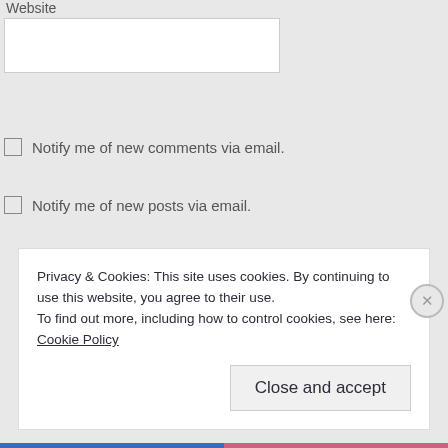Website
[Figure (other): Website text input field (empty, white rectangle with border)]
Notify me of new comments via email.
Notify me of new posts via email.
Privacy & Cookies: This site uses cookies. By continuing to use this website, you agree to their use.
To find out more, including how to control cookies, see here: Cookie Policy
Close and accept